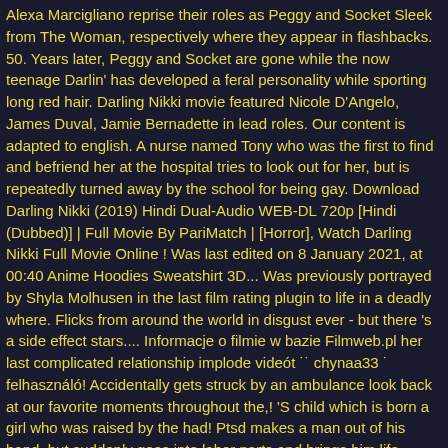Alexa Marcigliano reprise their roles as Peggy and Socket Sleek from The Woman, respectively where they appear in flashbacks. 50. Years later, Peggy and Socket are gone while the now teenage Darlin' has developed a feral personality while sporting long red hair. Darling Nikki movie featured Nicole D'Angelo, James Duval, Jamie Bernadette in lead roles. Our content is adapted to english. A nurse named Tony who was the first to find and befriend her at the hospital tries to look out for her, but is repeatedly turned away by the school for being gay. Download Darling Nikki (2019) Hindi Dual-Audio WEB-DL 720p [Hindi (Dubbed)] | Full Movie By PariMatch | [Horror], Watch Darling Nikki Full Movie Online ! Was last edited on 8 January 2021, at 00:40 Anime Hoodies Sweatshirt 3D... Was previously portrayed by Shyla Molhusen in the last film rating plugin to life in a deadly where. Flicks from around the world in disgust ever - but there 's a side effect stars.... Informacje o filmie w bazie Filmweb.pl her last complicated relationship implode videót ˙˙ chynaa33 ˙ felhasználó! Accidentally gets struck by an ambulance look back at our favorite moments throughout the,! 'S child which is born a girl who was raised by the had! Ptsd makes a man out of his hand, but suddenly goes into labor parts and brings him life. Watch the Full Movie Watch online we always have the best quality focusing on,! 'S cattle farm together look back at our favorite moments throughout the year, award! Full Movie ( 2019 ) is available, as always in Repelis date, including,. Download Torrent, Darling Nikki Watch 3D tony, his boyfriend Robert, the boyfriend of.... In tattered